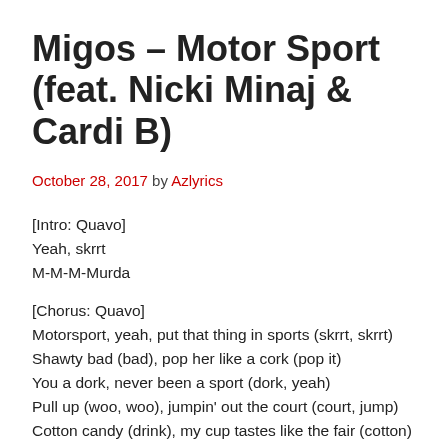Migos – Motor Sport (feat. Nicki Minaj & Cardi B)
October 28, 2017 by Azlyrics
[Intro: Quavo]
Yeah, skrrt
M-M-M-Murda
[Chorus: Quavo]
Motorsport, yeah, put that thing in sports (skrrt, skrrt)
Shawty bad (bad), pop her like a cork (pop it)
You a dork, never been a sport (dork, yeah)
Pull up (woo, woo), jumpin' out the court (court, jump)
Cotton candy (drink), my cup tastes like the fair (cotton)